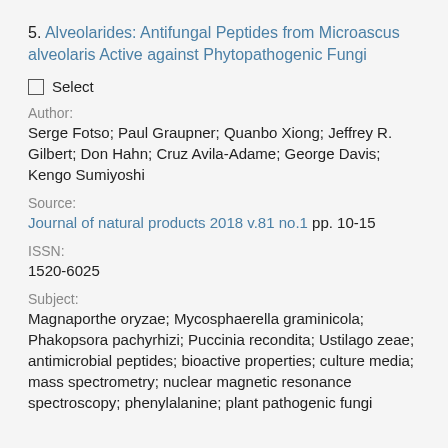5. Alveolarides: Antifungal Peptides from Microascus alveolaris Active against Phytopathogenic Fungi
Select
Author:
Serge Fotso; Paul Graupner; Quanbo Xiong; Jeffrey R. Gilbert; Don Hahn; Cruz Avila-Adame; George Davis; Kengo Sumiyoshi
Source:
Journal of natural products 2018 v.81 no.1 pp. 10-15
ISSN:
1520-6025
Subject:
Magnaporthe oryzae; Mycosphaerella graminicola; Phakopsora pachyrhizi; Puccinia recondita; Ustilago zeae; antimicrobial peptides; bioactive properties; culture media; mass spectrometry; nuclear magnetic resonance spectroscopy; phenylalanine; plant pathogenic fungi